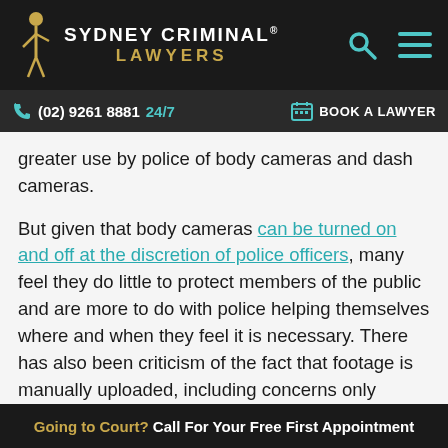SYDNEY CRIMINAL® LAWYERS
(02) 9261 8881 24/7  BOOK A LAWYER
greater use by police of body cameras and dash cameras.
But given that body cameras can be turned on and off at the discretion of police officers, many feel they do little to protect members of the public and are more to do with police helping themselves where and when they feel it is necessary. There has also been criticism of the fact that footage is manually uploaded, including concerns only footage that assists police is being saved.
Going to Court? Call For Your Free First Appointment